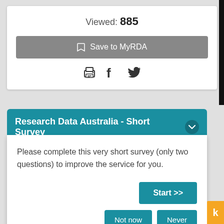Viewed: 885
Save to MyRDA
[Figure (other): Row of social/action icons: print, Facebook, Twitter]
Research Data Australia - Short Survey
Please complete this very short survey (only two questions) to improve the service for you.
Start >>
Not now
Never